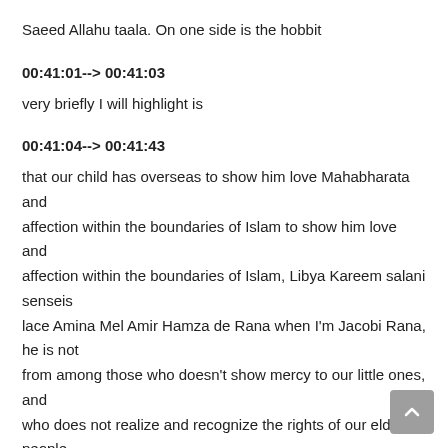Saeed Allahu taala. On one side is the hobbit
00:41:01--> 00:41:03
very briefly I will highlight is
00:41:04--> 00:41:43
that our child has overseas to show him love Mahabharata and affection within the boundaries of Islam to show him love and affection within the boundaries of Islam, Libya Kareem salani senseis lace Amina Mel Amir Hamza de Rana when I'm Jacobi Rana, he is not from among those who doesn't show mercy to our little ones, and who does not realize and recognize the rights of our elderly people. Libya Kareem sallallahu wasallam kissed one child as a hobby by the name of a crab in hobbies whether your loved one who was present,